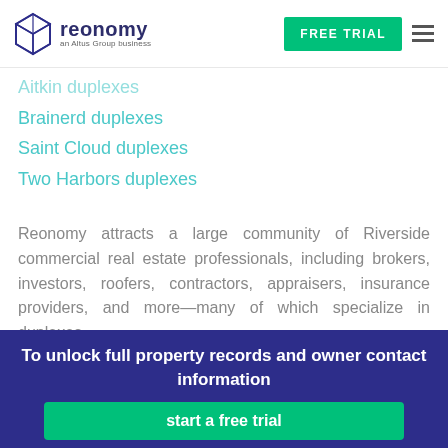[Figure (logo): Reonomy logo — geometric diamond/cube icon in dark blue/purple outline, with text 'reonomy' and 'an Altus Group business' below]
Aitkin duplexes
Brainerd duplexes
Saint Cloud duplexes
Two Harbors duplexes
Reonomy attracts a large community of Riverside commercial real estate professionals, including brokers, investors, roofers, contractors, appraisers, insurance providers, and more—many of which specialize in duplexes.
To unlock full property records and owner contact information
start a free trial